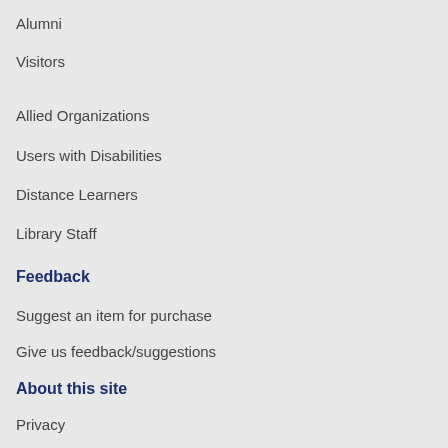Alumni
Visitors
Allied Organizations
Users with Disabilities
Distance Learners
Library Staff
Feedback
Suggest an item for purchase
Give us feedback/suggestions
About this site
Privacy
Staff Login
[Figure (logo): FDLP logo with shield icon and text FDLP]